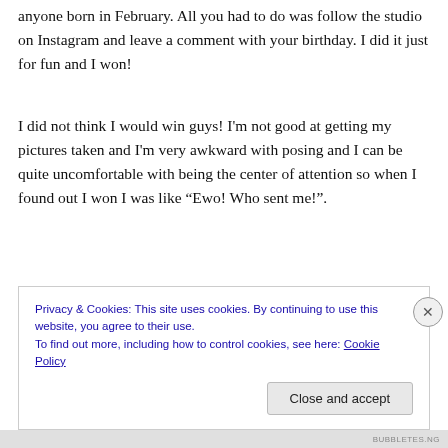anyone born in February. All you had to do was follow the studio on Instagram and leave a comment with your birthday. I did it just for fun and I won!
I did not think I would win guys! I'm not good at getting my pictures taken and I'm very awkward with posing and I can be quite uncomfortable with being the center of attention so when I found out I won I was like “Ewo! Who sent me!”.
Privacy & Cookies: This site uses cookies. By continuing to use this website, you agree to their use.
To find out more, including how to control cookies, see here: Cookie Policy
Close and accept
BUBBLETES.NG